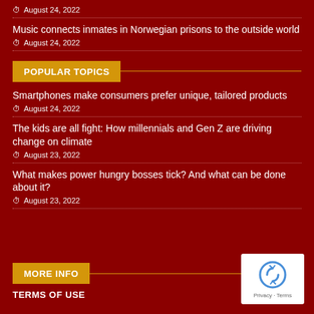August 24, 2022
Music connects inmates in Norwegian prisons to the outside world
August 24, 2022
POPULAR TOPICS
Smartphones make consumers prefer unique, tailored products
August 24, 2022
The kids are all fight: How millennials and Gen Z are driving change on climate
August 23, 2022
What makes power hungry bosses tick? And what can be done about it?
August 23, 2022
MORE INFO
TERMS OF USE